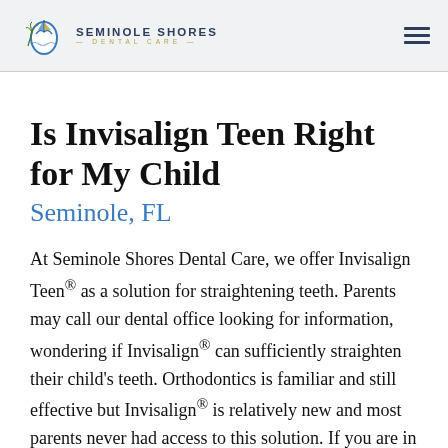Seminole Shores Dental Care
Is Invisalign Teen Right for My Child
Seminole, FL
At Seminole Shores Dental Care, we offer Invisalign Teen® as a solution for straightening teeth. Parents may call our dental office looking for information, wondering if Invisalign® can sufficiently straighten their child's teeth. Orthodontics is familiar and still effective but Invisalign® is relatively new and most parents never had access to this solution. If you are in this situation, the best way to find out about your